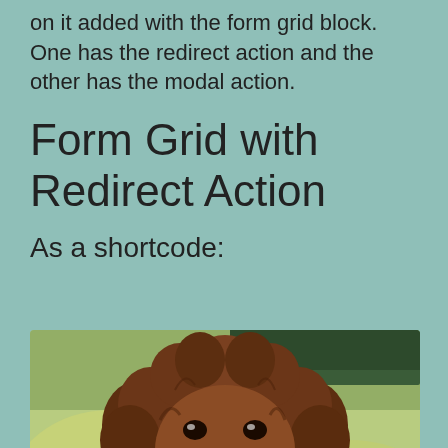on it added with the form grid block. One has the redirect action and the other has the modal action.
Form Grid with Redirect Action
As a shortcode:
[Figure (photo): A fluffy brown curly-haired dog (looks like a Lagotto Romagnolo or Labradoodle) with its tongue out, photographed outdoors with a blurred green background.]